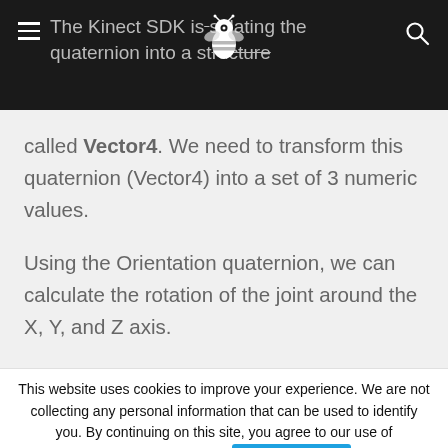The Kinect SDK is encapsulating the quaternion into a structure called Vector4. We need to transform this quaternion (Vector4) into a set of 3 numeric values.
called Vector4. We need to transform this quaternion (Vector4) into a set of 3 numeric values.
Using the Orientation quaternion, we can calculate the rotation of the joint around the X, Y, and Z axis.
This website uses cookies to improve your experience. We are not collecting any personal information that can be used to identify you. By continuing on this site, you agree to our use of cookies. Read More  Accept cookies